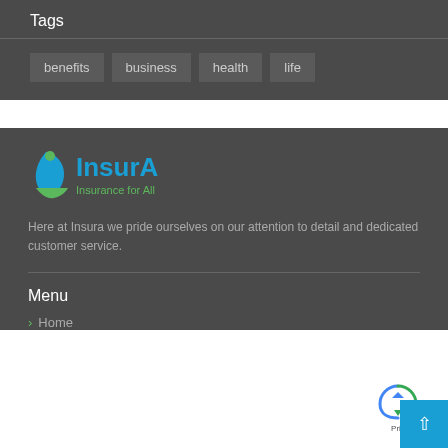Tags
benefits
business
health
life
[Figure (logo): InsurA Insurance for All logo with blue and green styling]
Here at Insura we pride ourselves on our attention to detail and dedicated customer service.
Menu
Home